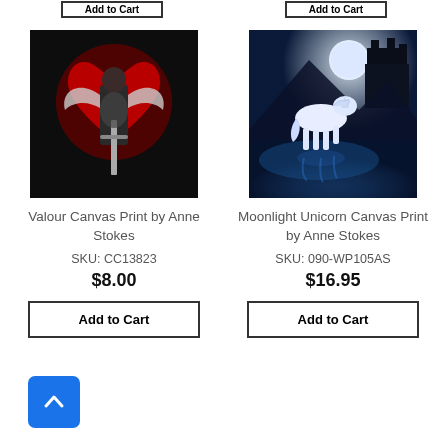[Figure (other): Partial 'Add to Cart' buttons at top of page, two buttons cropped]
[Figure (illustration): Valour Canvas Print by Anne Stokes — fantasy artwork of a woman warrior with dragon wings and a sword, red heart motif in background]
Valour Canvas Print by Anne Stokes
SKU: CC13823
$8.00
Add to Cart
[Figure (illustration): Moonlight Unicorn Canvas Print by Anne Stokes — white unicorn running on water under a full moon with a dark castle silhouette in background]
Moonlight Unicorn Canvas Print by Anne Stokes
SKU: 090-WP105AS
$16.95
Add to Cart